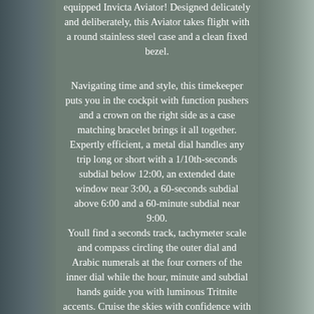equipped Invicta Aviator! Designed delicately and deliberately, this Aviator takes flight with a round stainless steel case and a clean fixed bezel.
Navigating time and style, this timekeeper puts you in the cockpit with function pushers and a crown on the right side as a case matching bracelet brings it all together. Expertly efficient, a metal dial handles any trip long or short with a 1/10th-seconds subdial below 12:00, an extended date window near 3:00, a 60-seconds subdial above 6:00 and a 60-minute subdial near 9:00.
Youll find a seconds track, tachymeter scale and compass circling the outer dial and Arabic numerals at the four corners of the inner dial while the hour, minute and subdial hands guide you with luminous Tritnite accents. Cruise the skies with confidence with this Invicta Aviator! Movement: Japanese TMI VD57 Quartz Chronograph.